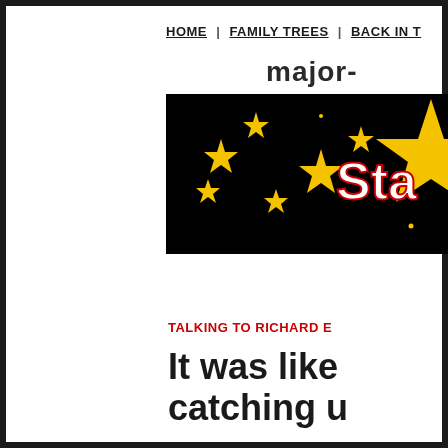HOME | FAMILY TREES | BACK IN T
major-
[Figure (illustration): Website banner on black background with yellow stars scattered across it and large text reading 'Sta' in white with red outline on the right side.]
TALKING TO RICHARD E
It was like catching u